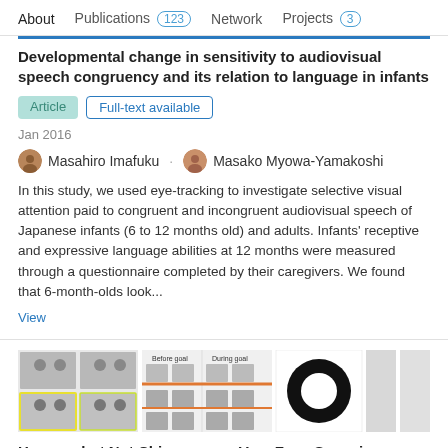About  Publications 123  Network  Projects 3
Developmental change in sensitivity to audiovisual speech congruency and its relation to language in infants
Article  Full-text available
Jan 2016
Masahiro Imafuku · Masako Myowa-Yamakoshi
In this study, we used eye-tracking to investigate selective visual attention paid to congruent and incongruent audiovisual speech of Japanese infants (6 to 12 months old) and adults. Infants' receptive and expressive language abilities at 12 months were measured through a questionnaire completed by their caregivers. We found that 6-month-olds look...
View
[Figure (photo): Thumbnail strip of research images including grid of face images, a ring/donut shape, and grey placeholder boxes]
Humans but Not Chimpanzees Vary Face-Scanning